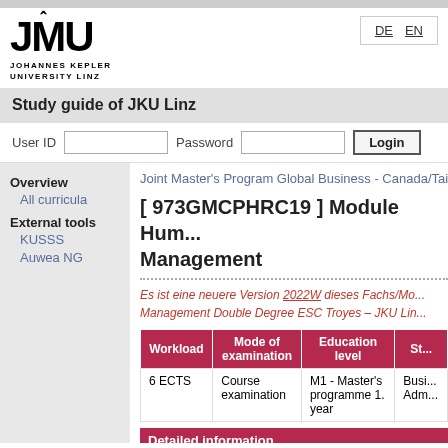[Figure (logo): JKU Johannes Kepler University Linz logo with stylized JKU letters and university name below]
DE  EN
Study guide of JKU Linz
User ID   Password   Login
Overview
All curricula
External tools
KUSSS
Auwea NG
Joint Master's Program Global Business - Canada/Tai...
[ 973GMCPHRC19 ] Module Human Resource Management
Es ist eine neuere Version 2022W dieses Fachs/Mod... Management Double Degree ESC Troyes – JKU Lin...
| Workload | Mode of examination | Education level | St... |
| --- | --- | --- | --- |
| 6 ECTS | Course examination | M1 - Master's programme 1. year | Busi... Adm... |
Detailed information